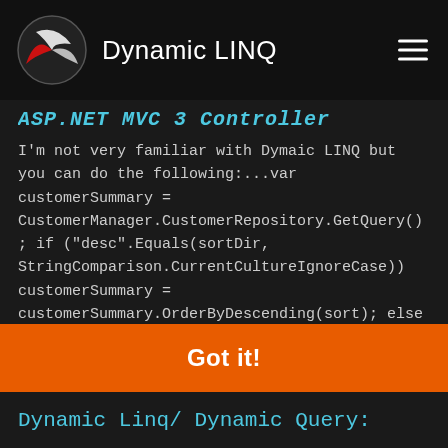Dynamic LINQ
ASP.NET MVC 3 Controller
I'm not very familiar with Dymaic LINQ but you can do the following:...var customerSummary = CustomerManager.CustomerRepository.GetQuery(); if ("desc".Equals(sortDir, StringComparison.CurrentCultureIgnoreCase)) customerSummary = customerSummary.OrderByDescending(sort); else customerSummary = customerSummary.OrderBy(sort); var pageNumber = p...
asp.net-mvc-3   c#   dynamic-linq
asked by ILya
This website uses cookies to ensure you get the best experience on our website.
Learn more
Got it!
Dynamic Linq/ Dynamic Query: